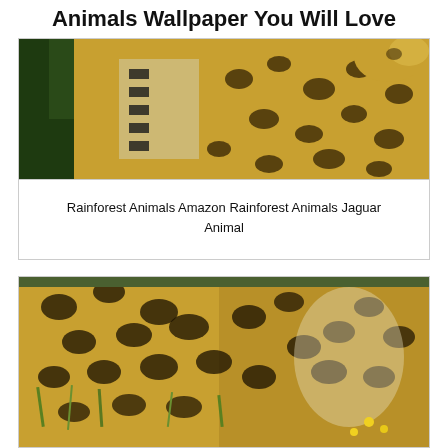Animals Wallpaper You Will Love
[Figure (photo): Close-up photo of a jaguar with distinctive black rosette spots on golden-brown fur, with green foliage in background]
Rainforest Animals Amazon Rainforest Animals Jaguar Animal
[Figure (photo): Full body photo of a jaguar standing in green grass with yellow wildflowers, showing spotted coat pattern]